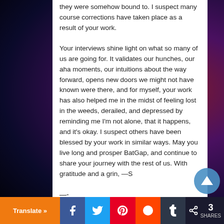they were somehow bound to. I suspect many course corrections have taken place as a result of your work.
Your interviews shine light on what so many of us are going for. It validates our hunches, our aha moments, our intuitions about the way forward, opens new doors we might not have known were there, and for myself, your work has also helped me in the midst of feeling lost in the weeds, derailed, and depressed by reminding me I'm not alone, that it happens, and it's okay. I suspect others have been blessed by your work in similar ways. May you live long and prosper BatGap, and continue to share your journey with the rest of us. With gratitude and a grin, —S
—-
I love the interviews you do….your style, your manner, your down to earth-ness, and the wonderful variety of follow...